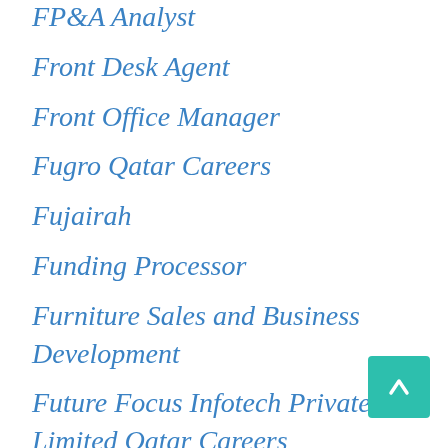FP&A Analyst
Front Desk Agent
Front Office Manager
Fugro Qatar Careers
Fujairah
Funding Processor
Furniture Sales and Business Development
Future Focus Infotech Private Limited Qatar Careers
Gameplay Animator
General Accountant
General Accountants
General Manager
General Staff Nurse